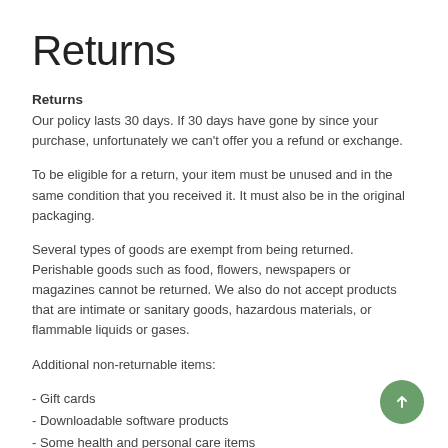Returns
Returns
Our policy lasts 30 days. If 30 days have gone by since your purchase, unfortunately we can't offer you a refund or exchange.
To be eligible for a return, your item must be unused and in the same condition that you received it. It must also be in the original packaging.
Several types of goods are exempt from being returned. Perishable goods such as food, flowers, newspapers or magazines cannot be returned. We also do not accept products that are intimate or sanitary goods, hazardous materials, or flammable liquids or gases.
Additional non-returnable items:
- Gift cards
- Downloadable software products
- Some health and personal care items